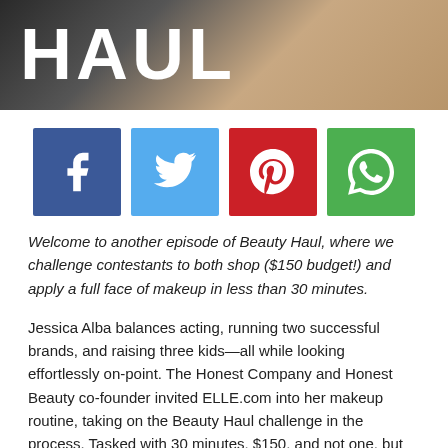[Figure (photo): Header image showing the word HAUL in large bold white text overlaid on a photo of a woman, with a beauty/makeup theme]
[Figure (infographic): Four social media share buttons in a row: Facebook (blue), Twitter (cyan), Pinterest (red), WhatsApp (green)]
Welcome to another episode of Beauty Haul, where we challenge contestants to both shop ($150 budget!) and apply a full face of makeup in less than 30 minutes.
Jessica Alba balances acting, running two successful brands, and raising three kids—all while looking effortlessly on-point. The Honest Company and Honest Beauty co-founder invited ELLE.com into her makeup routine, taking on the Beauty Haul challenge in the process. Tasked with 30 minutes, $150, and not one, but two faces to touch-up, Alba proved up for the challenge.